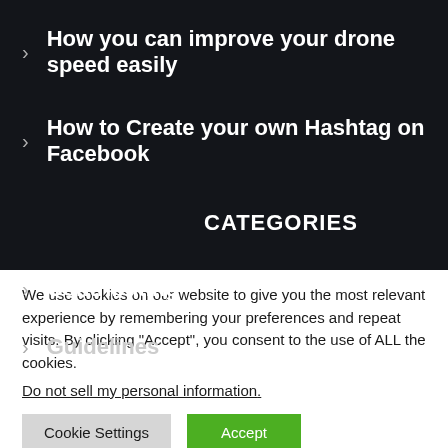> How you can improve your drone speed easily
> How to Create your own Hashtag on Facebook
CATEGORIES
> Contributing
> Guidelines
We use cookies on our website to give you the most relevant experience by remembering your preferences and repeat visits. By clicking “Accept”, you consent to the use of ALL the cookies.
Do not sell my personal information.
Cookie Settings | Accept